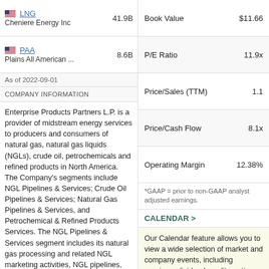LNG Cheniere Energy Inc 41.9B
PAA Plains All American ... 8.6B
As of 2022-09-01
COMPANY INFORMATION
Enterprise Products Partners L.P. is a provider of midstream energy services to producers and consumers of natural gas, natural gas liquids (NGLs), crude oil, petrochemicals and refined products in North America. The Company's segments include NGL Pipelines & Services; Crude Oil Pipelines & Services; Natural Gas Pipelines & Services, and Petrochemical & Refined Products Services. The NGL Pipelines & Services segment includes its natural gas processing and related NGL marketing activities, NGL pipelines, NGL fractionation facilities, NGL and related product storage facilities, and NGL marine terminals. The Crude Oil Pipelines & Services segment includes oil...
| Metric | Value |
| --- | --- |
| Book Value | $11.66 |
| P/E Ratio | 11.9x |
| Price/Sales (TTM) | 1.1 |
| Price/Cash Flow | 8.1x |
| Operating Margin | 12.38% |
*GAAP = prior to non-GAAP analyst adjusted earnings.
CALENDAR >
Our Calendar feature allows you to view a wide selection of market and company events, including earnings, dividends, splits, rating changes, guidance, and more. Access past, current and future events in WebBroker.
Open a New Account, or Login if you're a client.